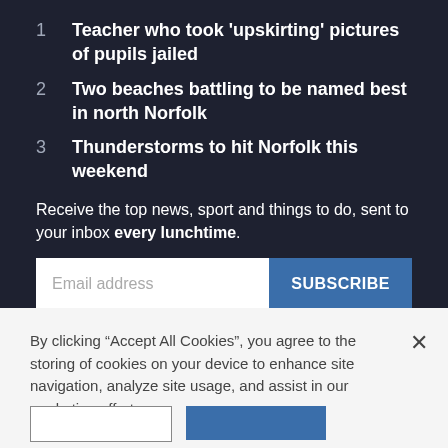1   Teacher who took 'upskirting' pictures of pupils jailed
2   Two beaches battling to be named best in north Norfolk
3   Thunderstorms to hit Norfolk this weekend
Receive the top news, sport and things to do, sent to your inbox every lunchtime.
Email address
SUBSCRIBE
Our Privacy Policy
By clicking “Accept All Cookies”, you agree to the storing of cookies on your device to enhance site navigation, analyze site usage, and assist in our marketing efforts.